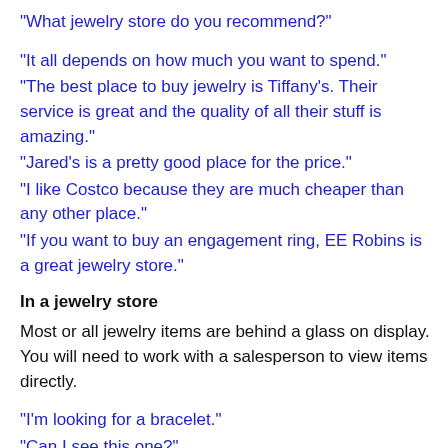"What jewelry store do you recommend?"
"It all depends on how much you want to spend."
"The best place to buy jewelry is Tiffany's. Their service is great and the quality of all their stuff is amazing."
"Jared's is a pretty good place for the price."
"I like Costco because they are much cheaper than any other place."
"If you want to buy an engagement ring, EE Robins is a great jewelry store."
In a jewelry store
Most or all jewelry items are behind a glass on display. You will need to work with a salesperson to view items directly.
"I'm looking for a bracelet."
"Can I see this one?"